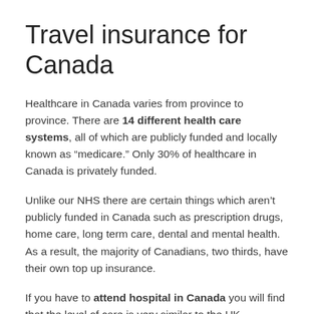Travel insurance for Canada
Healthcare in Canada varies from province to province. There are 14 different health care systems, all of which are publicly funded and locally known as “medicare.” Only 30% of healthcare in Canada is privately funded.
Unlike our NHS there are certain things which aren’t publicly funded in Canada such as prescription drugs, home care, long term care, dental and mental health. As a result, the majority of Canadians, two thirds, have their own top up insurance.
If you have to attend hospital in Canada you will find that the level of care is very similar to the UK.
Canada has been ranked 30th in the World Health